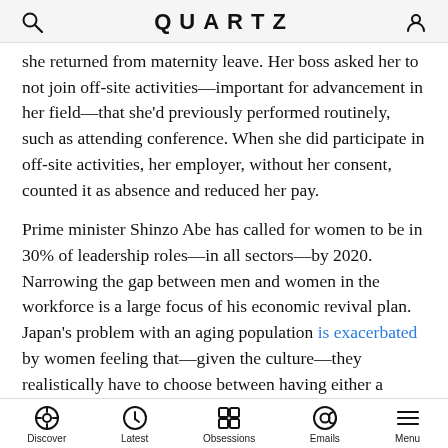QUARTZ
she returned from maternity leave. Her boss asked her to not join off-site activities—important for advancement in her field—that she'd previously performed routinely, such as attending conference. When she did participate in off-site activities, her employer, without her consent, counted it as absence and reduced her pay.
Prime minister Shinzo Abe has called for women to be in 30% of leadership roles—in all sectors—by 2020. Narrowing the gap between men and women in the workforce is a large focus of his economic revival plan. Japan's problem with an aging population is exacerbated by women feeling that—given the culture—they realistically have to choose between having either a career or children, rather than both.
Discover | Latest | Obsessions | Emails | Menu